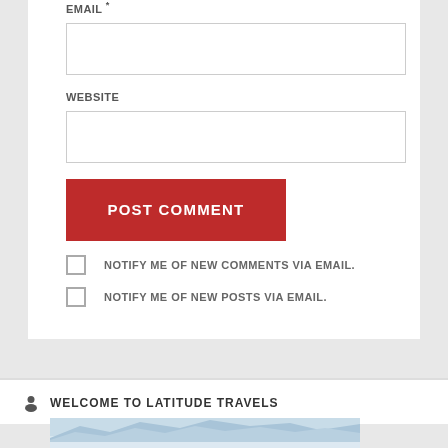EMAIL *
WEBSITE
POST COMMENT
NOTIFY ME OF NEW COMMENTS VIA EMAIL.
NOTIFY ME OF NEW POSTS VIA EMAIL.
WELCOME TO LATITUDE TRAVELS
[Figure (photo): Snow-capped mountain peaks with blue sky, partial view at bottom of page]